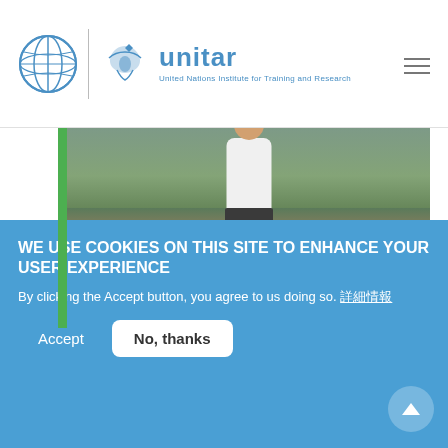UNITAR — United Nations Institute for Training and Research
[Figure (photo): Person crouching near a polluted waterway with debris and grass around them]
UN CC:LEARN PLATFORM
Integrating Climate Change in
WE USE COOKIES ON THIS SITE TO ENHANCE YOUR USER EXPERIENCE
By clicking the Accept button, you agree to us doing so. 詳細情報
Accept
No, thanks